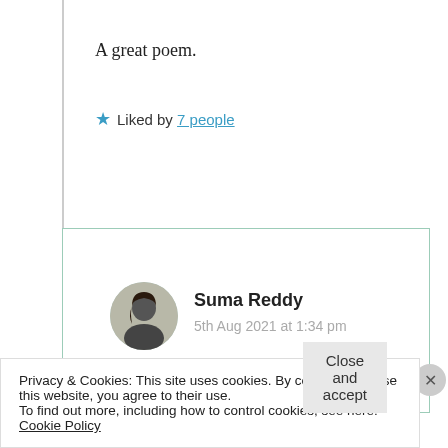A great poem.
★ Liked by 7 people
Log in to Reply
Suma Reddy
5th Aug 2021 at 1:34 pm
Thanks Shirish 🧡 ❤️
Privacy & Cookies: This site uses cookies. By continuing to use this website, you agree to their use.
To find out more, including how to control cookies, see here: Cookie Policy
Close and accept